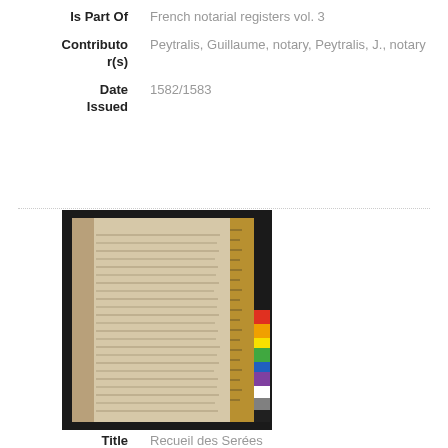| Is Part Of | French notarial registers vol. 3 |
| Contributor(s) | Peytralis, Guillaume, notary, Peytralis, J., notary |
| Date Issued | 1582/1583 |
[Figure (photo): Photograph of an open historical manuscript/notarial register with a ruler and color calibration chart visible on the right side. The pages show dense handwritten text on aged paper.]
Title
Recueil des Serées